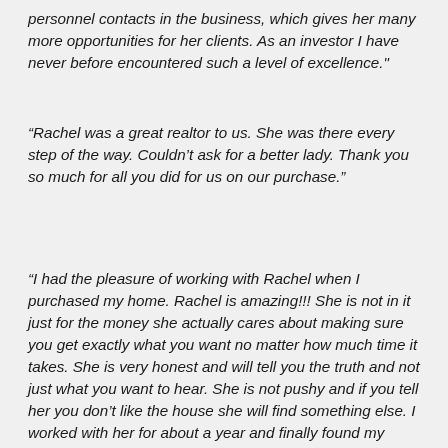personnel contacts in the business, which gives her many more opportunities for her clients. As an investor I have never before encountered such a level of excellence."
“Rachel was a great realtor to us. She was there every step of the way. Couldn’t ask for a better lady. Thank you so much for all you did for us on our purchase.”
“I had the pleasure of working with Rachel when I purchased my home. Rachel is amazing!!! She is not in it just for the money she actually cares about making sure you get exactly what you want no matter how much time it takes. She is very honest and will tell you the truth and not just what you want to hear. She is not pushy and if you tell her you don’t like the house she will find something else. I worked with her for about a year and finally found my home. She was with us every step of the way and she